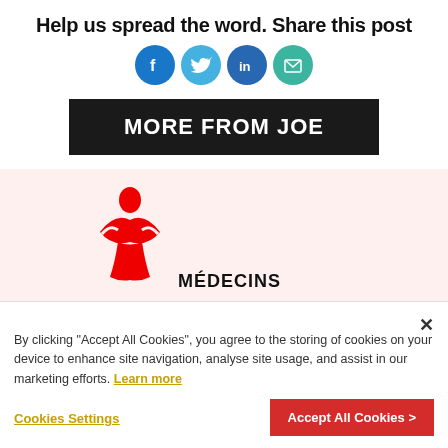Help us spread the word. Share this post
[Figure (illustration): Four circular social share buttons: Facebook (blue), Twitter (light blue), LinkedIn (dark blue), Email (teal)]
MORE FROM JOE
[Figure (logo): MSF Médecins Sans Frontières logo on a light pink/red background card]
By clicking "Accept All Cookies", you agree to the storing of cookies on your device to enhance site navigation, analyse site usage, and assist in our marketing efforts. Learn more
Cookies Settings
Accept All Cookies >